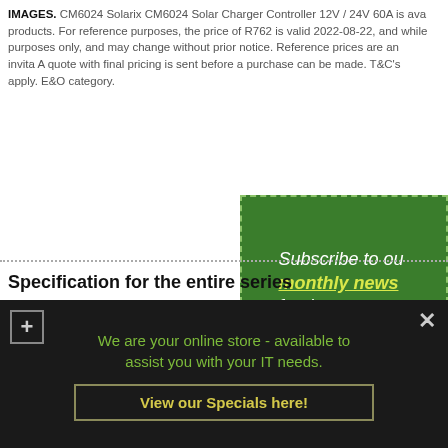IMAGES. CM6024 Solarix CM6024 Solar Charger Controller 12V / 24V 60A is available products. For reference purposes, the price of R762 is valid 2022-08-22, and while purposes only, and may change without prior notice. Reference prices are an invita A quote with final pricing is sent before a purchase can be made. T&C's apply. E&O category.
[Figure (other): Green banner advertisement reading 'Subscribe to our monthly news for tips, news and new products' with dashed border on green background]
Specification for the entire series
Important information: Kindly note that specifications differ between m not included with this product unless it has been specified in the above
We are your online store - available to assist you with your IT needs. View our Specials here!